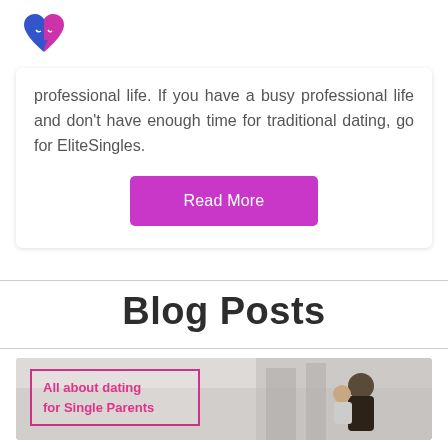[Dating site logo]
professional life. If you have a busy professional life and don't have enough time for traditional dating, go for EliteSingles.
[Figure (other): Purple 'Read More' button]
Blog Posts
[Figure (photo): Blog post thumbnail: 'All about dating for Single Parents' with image of woman holding child]
Dating after li...